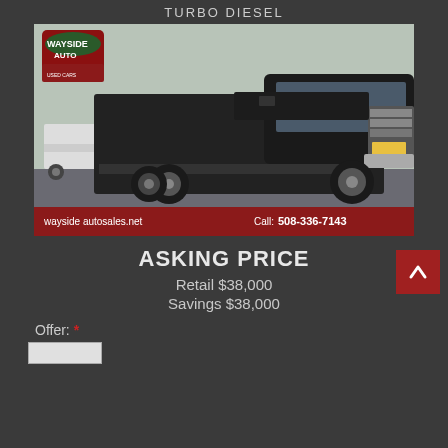TURBO DIESEL
[Figure (photo): Black Chevrolet Silverado 3500 cab and chassis truck parked in a lot, with Wayside Auto logo overlay and red bar showing wayside autosales.net and Call: 508-336-7143]
ASKING PRICE
Retail $38,000
Savings $38,000
Offer: *